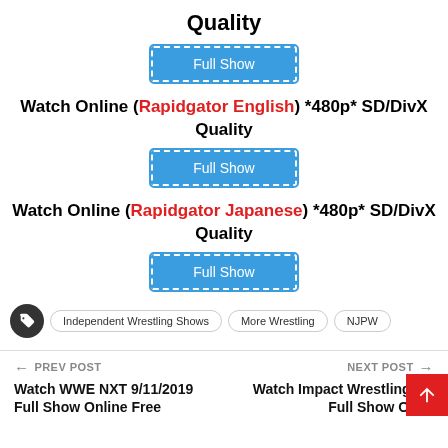Quality
[Figure (other): Blue button labeled 'Full Show' with dashed white border]
Watch Online (Rapidgator English) *480p* SD/DivX Quality
[Figure (other): Blue button labeled 'Full Show' with dashed white border]
Watch Online (Rapidgator Japanese) *480p* SD/DivX Quality
[Figure (other): Blue button labeled 'Full Show' with dashed white border]
Independent Wrestling Shows  More Wrestling  NJPW
← PREV POST  Watch WWE NXT 9/11/2019 Full Show Online Free     NEXT POST →  Watch Impact Wrestling 9/1... Full Show Onli...